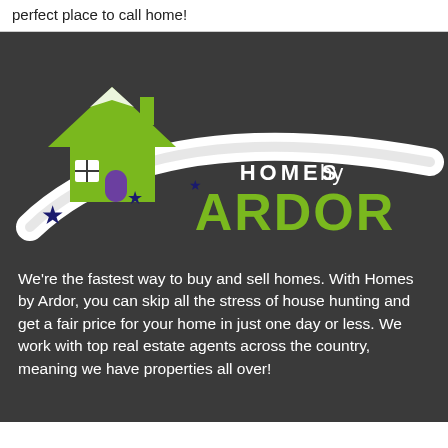perfect place to call home!
[Figure (logo): Homes by Ardor logo: green house icon with white swoosh and three navy stars, text 'HOMES by ARDOR' with ARDOR in large green bold letters, on dark background]
We're the fastest way to buy and sell homes. With Homes by Ardor, you can skip all the stress of house hunting and get a fair price for your home in just one day or less. We work with top real estate agents across the country, meaning we have properties all over!